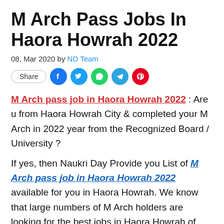M Arch Pass Jobs In Haora Howrah 2022
08, Mar 2020 by ND Team
[Figure (infographic): Social share buttons: Share, Facebook, Twitter, WhatsApp, Telegram, Pinterest]
M Arch pass job in Haora Howrah 2022 : Are u from Haora Howrah City & completed your M Arch in 2022 year from the Recognized Board / University ?
If yes, then Naukri Day Provide you List of M Arch pass job in Haora Howrah 2022 available for you in Haora Howrah. We know that large numbers of M Arch holders are looking for the best jobs in Haora Howrah of their profile.